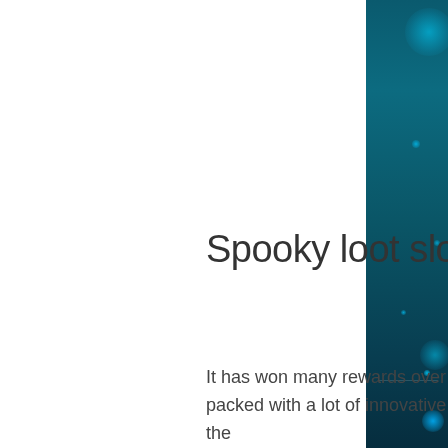[Figure (illustration): Dark teal sidebar with bokeh light orb effects on the right side of the page]
Spooky loot slot machine
It has won many rewards over the years since its inception in 1996. The games packed with a lot of innovative features have great graphics, which is the icing on the